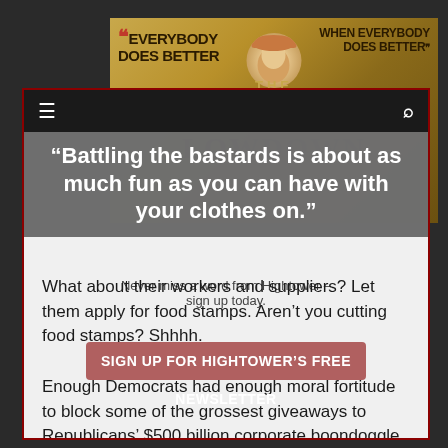[Figure (illustration): The Hightower Lowdown website banner with text 'EVERYBODY DOES BETTER' and 'WHEN EVERYBODY DOES BETTER' and a person in a hat in the center]
"Battling the bastards is about as much fun as you can have with your clothes on."
Never miss a word from Hightower – sign up today.
What about their workers and suppliers? Let them apply for food stamps. Aren't you cutting food stamps? Shhhh.
SIGN UP FOR HIGHTOWER'S FREE NEWSLETTER
Enough Democrats had enough moral fortitude to block some of the grossest giveaways to Republicans' $500 billion corporate boondoggle, but the greedy, profiteering giants should not have been